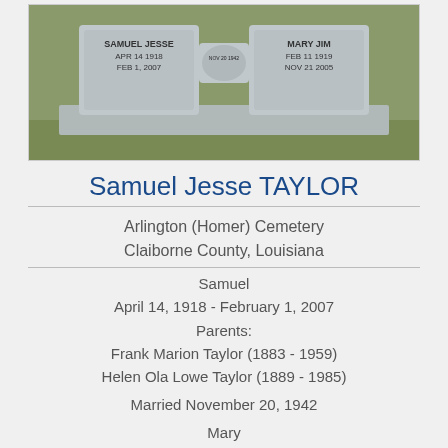[Figure (photo): Photograph of a gray granite double gravestone for Samuel Jesse Taylor (Apr 14, 1918 - Feb 1, 2007) and Mary Jim (Feb 11, 1919 - Nov 21, 2005), with a marriage medallion in the center, set on a stone base outdoors with grass visible.]
Samuel Jesse TAYLOR
Arlington (Homer) Cemetery
Claiborne County, Louisiana
Samuel
April 14, 1918 - February 1, 2007
Parents:
Frank Marion Taylor (1883 - 1959)
Helen Ola Lowe Taylor (1889 - 1985)
Married November 20, 1942
Mary
February 11, 1919 - November 21, 2005
Parents: